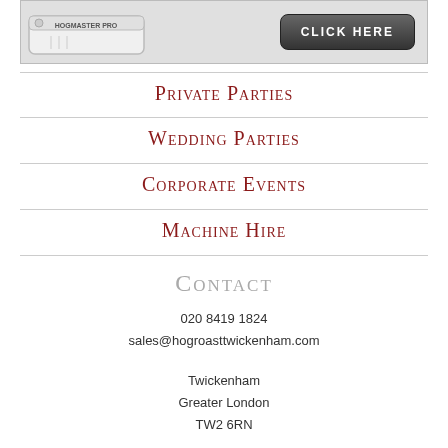[Figure (photo): Banner image showing a Hogmaster Pro machine on the left and a dark 'CLICK HERE' button on the right, on a grey background]
Private Parties
Wedding Parties
Corporate Events
Machine Hire
Contact
020 8419 1824
sales@hogroasttwickenham.com
Twickenham
Greater London
TW2 6RN